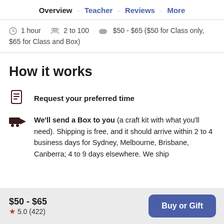Overview · Teacher · Reviews · More
1 hour   2 to 100   $50 - $65 ($50 for Class only, $65 for Class and Box)
How it works
Request your preferred time
We'll send a Box to you (a craft kit with what you'll need). Shipping is free, and it should arrive within 2 to 4 business days for Sydney, Melbourne, Brisbane, Canberra; 4 to 9 days elsewhere. We ship
$50 - $65
★ 5.0 (422)
Buy or Gift